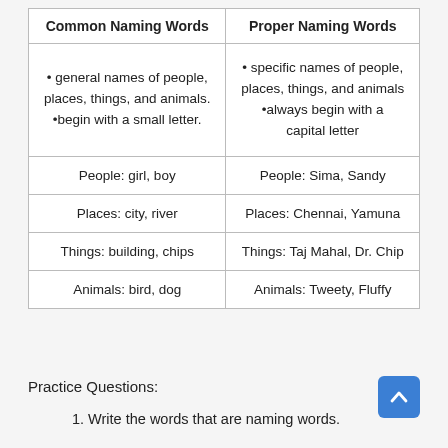| Common Naming Words | Proper Naming Words |
| --- | --- |
| • general names of people, places, things, and animals.
•begin with a small letter. | • specific names of people, places, things, and animals
•always begin with a capital letter |
| People: girl, boy | People: Sima, Sandy |
| Places: city, river | Places: Chennai, Yamuna |
| Things: building, chips | Things: Taj Mahal, Dr. Chip |
| Animals: bird, dog | Animals: Tweety, Fluffy |
Practice Questions:
1. Write the words that are naming words.